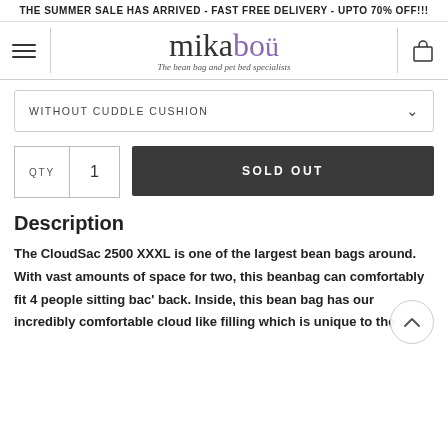THE SUMMER SALE HAS ARRIVED - FAST FREE DELIVERY - UPTO 70% OFF!!!
[Figure (logo): Mikabou logo with hamburger menu and cart icon. Logo text reads 'mikabou' with 'mika' in dark grey and 'bou' in purple, tagline: 'The bean bag and pet bed specialists']
WITHOUT CUDDLE CUSHION
QTY  1  SOLD OUT
Description
The CloudSac 2500 XXXL is one of the largest bean bags around. With vast amounts of space for two, this beanbag can comfortably fit 4 people sitting bac' back. Inside, this bean bag has our incredibly comfortable cloud like filling which is unique to the